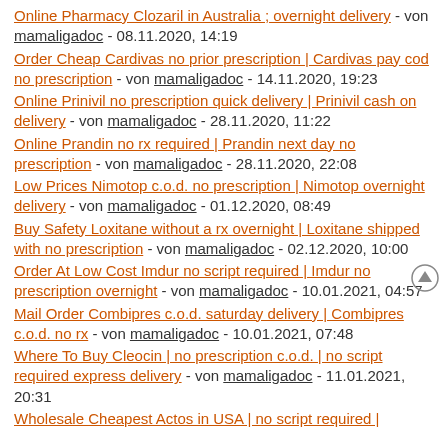Online Pharmacy Clozaril in Australia ; overnight delivery - von mamaligadoc - 08.11.2020, 14:19
Order Cheap Cardivas no prior prescription | Cardivas pay cod no prescription - von mamaligadoc - 14.11.2020, 19:23
Online Prinivil no prescription quick delivery | Prinivil cash on delivery - von mamaligadoc - 28.11.2020, 11:22
Online Prandin no rx required | Prandin next day no prescription - von mamaligadoc - 28.11.2020, 22:08
Low Prices Nimotop c.o.d. no prescription | Nimotop overnight delivery - von mamaligadoc - 01.12.2020, 08:49
Buy Safety Loxitane without a rx overnight | Loxitane shipped with no prescription - von mamaligadoc - 02.12.2020, 10:00
Order At Low Cost Imdur no script required | Imdur no prescription overnight - von mamaligadoc - 10.01.2021, 04:57
Mail Order Combipres c.o.d. saturday delivery | Combipres c.o.d. no rx - von mamaligadoc - 10.01.2021, 07:48
Where To Buy Cleocin | no prescription c.o.d. | no script required express delivery - von mamaligadoc - 11.01.2021, 20:31
Wholesale Cheapest Actos in USA | no script required |